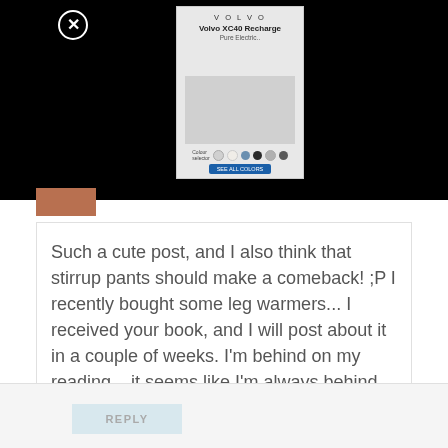[Figure (screenshot): Advertisement for Volvo XC40 Recharge Pure Electric with car image and color selector dots, shown against a black background with a close button (X in circle)]
[Figure (photo): Small avatar/profile photo thumbnail showing a person, partially visible]
Such a cute post, and I also think that stirrup pants should make a comeback! ;P I recently bought some leg warmers... I received your book, and I will post about it in a couple of weeks. I'm behind on my reading....it seems like I'm always behind at the first of the month for some reason....
REPLY